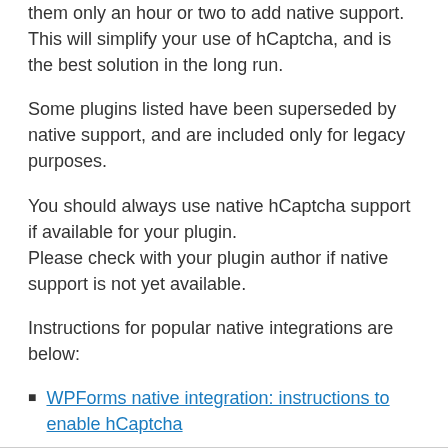them only an hour or two to add native support. This will simplify your use of hCaptcha, and is the best solution in the long run.
Some plugins listed have been superseded by native support, and are included only for legacy purposes.
You should always use native hCaptcha support if available for your plugin.
Please check with your plugin author if native support is not yet available.
Instructions for popular native integrations are below:
WPForms native integration: instructions to enable hCaptcha
FAQ